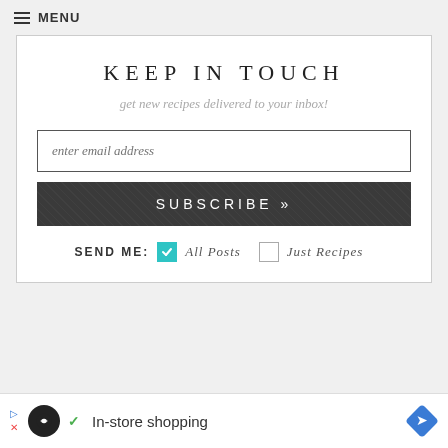≡ MENU
KEEP IN TOUCH
get new recipes delivered to your inbox!
enter email address
SUBSCRIBE »
SEND ME:  ☑ All Posts  ☐ Just Recipes
[Figure (screenshot): Ad banner with Loopback icon, checkmark, 'In-store shopping' text, and blue diamond arrow icon]